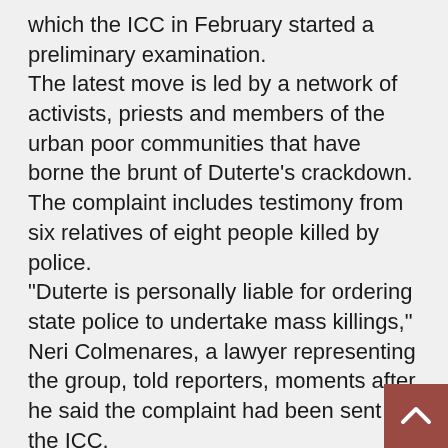which the ICC in February started a preliminary examination. The latest move is led by a network of activists, priests and members of the urban poor communities that have borne the brunt of Duterte's crackdown. The complaint includes testimony from six relatives of eight people killed by police. "Duterte is personally liable for ordering state police to undertake mass killings," Neri Colmenares, a lawyer representing the group, told reporters, moments after he said the complaint had been sent to the ICC. Duterte says he has told police to kill only if their lives were in danger. In his annual address to the nation last month, he said the
[Figure (other): Back to top button - brown/red square with white upward arrow chevron in bottom right corner]